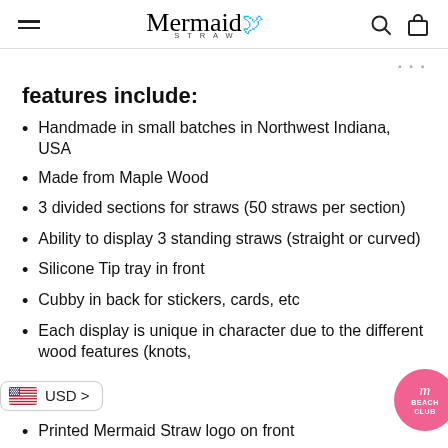Mermaid Straw
features include:
Handmade in small batches in Northwest Indiana, USA
Made from Maple Wood
3 divided sections for straws (50 straws per section)
Ability to display 3 standing straws (straight or curved)
Silicone Tip tray in front
Cubby in back for stickers, cards, etc
Each display is unique in character due to the different wood features (knots,
Printed Mermaid Straw logo on front